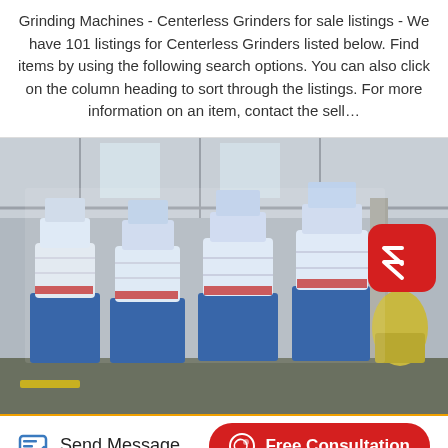Grinding Machines - Centerless Grinders for sale listings - We have 101 listings for Centerless Grinders listed below. Find items by using the following search options. You can also click on the column heading to sort through the listings. For more information on an item, contact the sell…
[Figure (photo): Industrial factory floor showing four large grinding machines wrapped in protective plastic sheeting, sitting on blue bases. A red scroll-to-top button overlay is visible in the top-right corner of the image.]
Send Message
Free Consultation